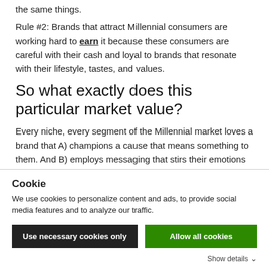the same things.
Rule #2: Brands that attract Millennial consumers are working hard to earn it because these consumers are careful with their cash and loyal to brands that resonate with their lifestyle, tastes, and values.
So what exactly does this particular market value?
Every niche, every segment of the Millennial market loves a brand that A) champions a cause that means something to them. And B) employs messaging that stirs their emotions
Cookie
We use cookies to personalize content and ads, to provide social media features and to analyze our traffic.
Use necessary cookies only
Allow all cookies
Show details